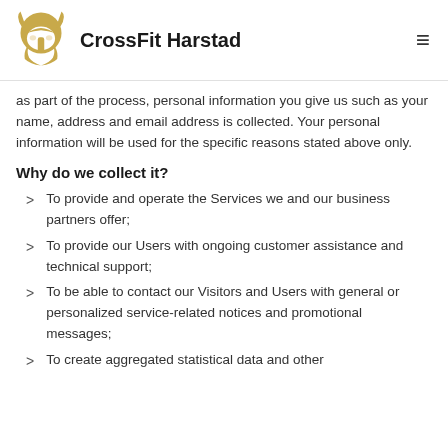CrossFit Harstad
as part of the process, personal information you give us such as your name, address and email address is collected. Your personal information will be used for the specific reasons stated above only.
Why do we collect it?
To provide and operate the Services we and our business partners offer;
To provide our Users with ongoing customer assistance and technical support;
To be able to contact our Visitors and Users with general or personalized service-related notices and promotional messages;
To create aggregated statistical data and other